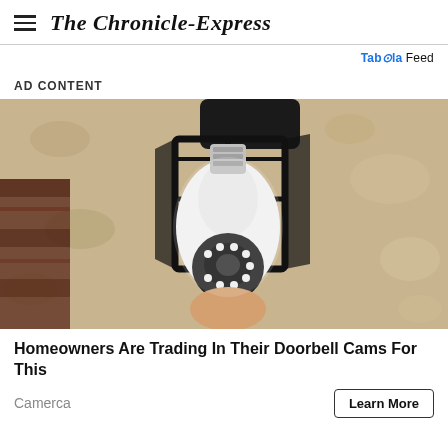The Chronicle-Express
Taboola Feed
AD CONTENT
[Figure (photo): A hand installing or adjusting a light bulb security camera into a black outdoor lantern-style wall fixture against a beige stucco wall. The camera-equipped bulb is white with a ring of LED lights on the front lens.]
Homeowners Are Trading In Their Doorbell Cams For This
Camerca
Learn More